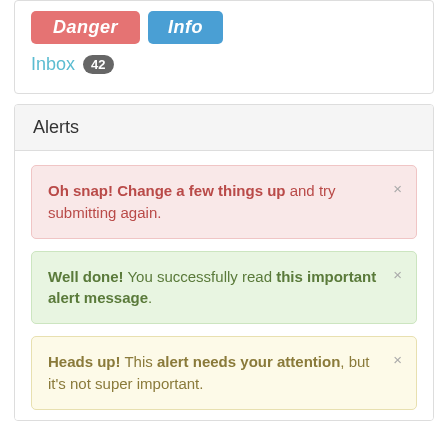[Figure (screenshot): Two buttons: a red 'Danger' button and a blue 'Info' button, followed by an 'Inbox 42' badge link]
Inbox 42
Alerts
Oh snap! Change a few things up and try submitting again.
Well done! You successfully read this important alert message.
Heads up! This alert needs your attention, but it's not super important.